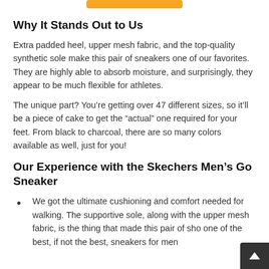Why It Stands Out to Us
Extra padded heel, upper mesh fabric, and the top-quality synthetic sole make this pair of sneakers one of our favorites. They are highly able to absorb moisture, and surprisingly, they appear to be much flexible for athletes.
The unique part? You’re getting over 47 different sizes, so it’ll be a piece of cake to get the “actual” one required for your feet. From black to charcoal, there are so many colors available as well, just for you!
Our Experience with the Skechers Men’s Go Sneaker
We got the ultimate cushioning and comfort needed for walking. The supportive sole, along with the upper mesh fabric, is the thing that made this pair of sho one of the best, if not the best, sneakers for men